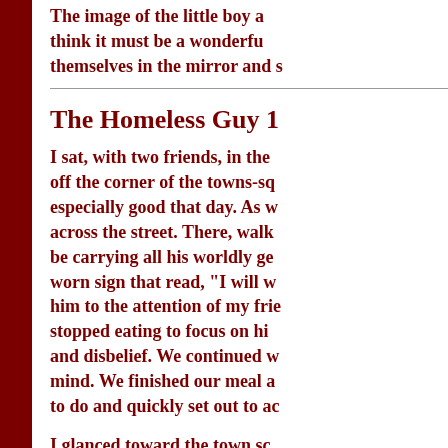The image of the little boy a... think it must be a wonderfu... themselves in the mirror and s...
The Homeless Guy 1
I sat, with two friends, in the off the corner of the towns-sq especially good that day. As w across the street. There, walk be carrying all his worldly ge worn sign that read, "I will w him to the attention of my frie stopped eating to focus on hi and disbelief. We continued w mind. We finished our meal a to do and quickly set out to ac
I glanced toward the town so...